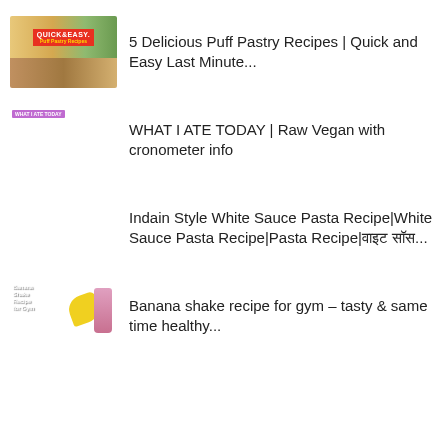5 Delicious Puff Pastry Recipes | Quick and Easy Last Minute...
WHAT I ATE TODAY | Raw Vegan with cronometer info
Indain Style White Sauce Pasta Recipe|White Sauce Pasta Recipe|Pasta Recipe|वाइट सॉस...
Banana shake recipe for gym – tasty & same time healthy...